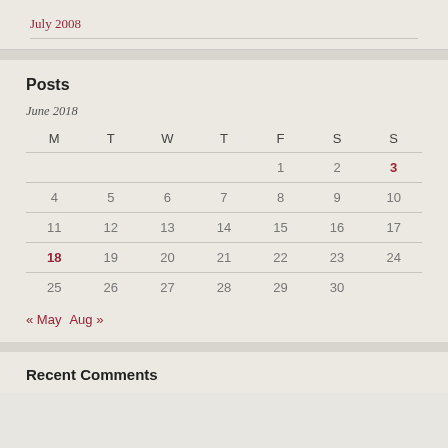July 2008
Posts
June 2018
| M | T | W | T | F | S | S |
| --- | --- | --- | --- | --- | --- | --- |
|  |  |  |  | 1 | 2 | 3 |
| 4 | 5 | 6 | 7 | 8 | 9 | 10 |
| 11 | 12 | 13 | 14 | 15 | 16 | 17 |
| 18 | 19 | 20 | 21 | 22 | 23 | 24 |
| 25 | 26 | 27 | 28 | 29 | 30 |  |
« May  Aug »
Recent Comments